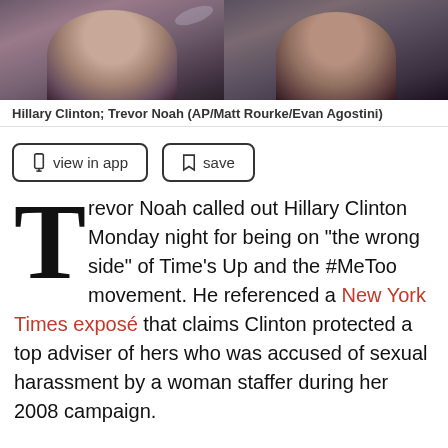[Figure (photo): Two side-by-side photos: left photo shows Hillary Clinton, right photo shows Trevor Noah, both against dark backgrounds.]
Hillary Clinton; Trevor Noah (AP/Matt Rourke/Evan Agostini)
view in app   save
Trevor Noah called out Hillary Clinton Monday night for being on "the wrong side" of Time's Up and the #MeToo movement. He referenced a New York Times exposé that claims Clinton protected a top adviser of hers who was accused of sexual harassment by a woman staffer during her 2008 campaign.
Reportedly, Clinton's campaign manager and other employees recommended that he be fired for his